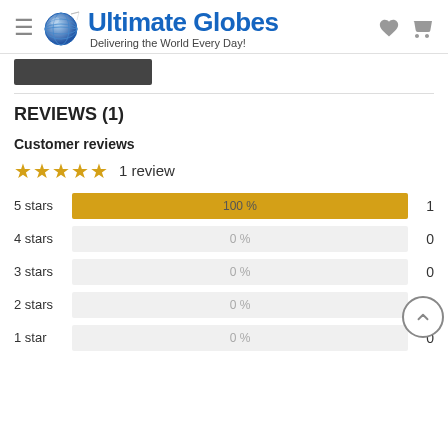Ultimate Globes — Delivering the World Every Day!
[Figure (screenshot): Dark button partially visible at top of page content area]
REVIEWS (1)
Customer reviews
★★★★★  1 review
[Figure (bar-chart): Star rating distribution]